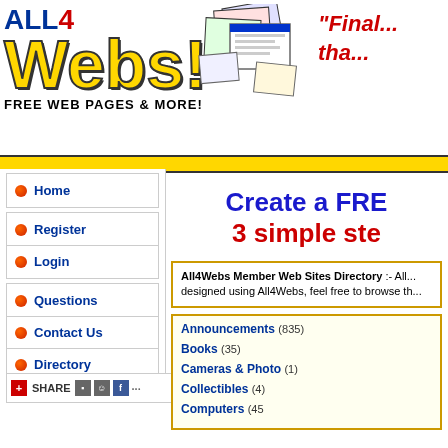[Figure (logo): ALL4Webs logo with yellow bold Webs! text and FREE WEB PAGES & MORE! tagline, plus website screenshots collage]
"Finally... tha
Home
Register
Login
Questions
Contact Us
Directory
Create a FREE... 3 simple ste...
All4Webs Member Web Sites Directory :- All... designed using All4Webs, feel free to browse th...
Announcements (835)
Books (35)
Cameras & Photo (1)
Collectibles (4)
Computers (45)